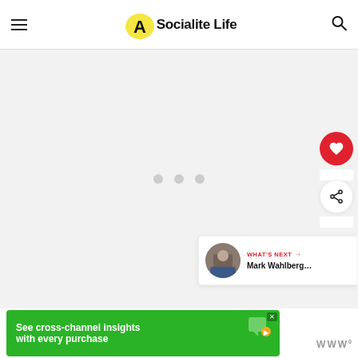Socialite Life
[Figure (other): Loading placeholder area with three gray dots centered on a light gray background]
[Figure (other): Heart (favorite) button – red circle with white heart icon]
[Figure (other): Share button – white circle with share icon]
[Figure (other): What's Next sidebar card showing Mark Wahlberg thumbnail and label]
[Figure (other): Advertisement banner: See cross-channel insights with every purchase on green background]
WHAT'S NEXT
Mark Wahlberg...
See cross-channel insights with every purchase